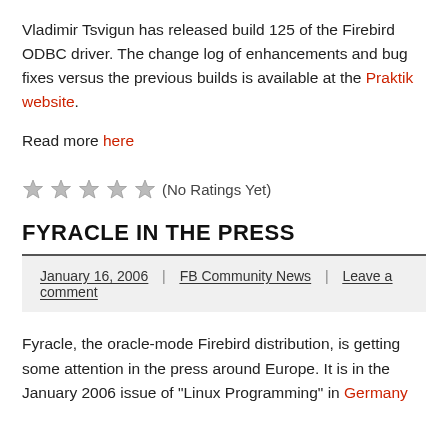Vladimir Tsvigun has released build 125 of the Firebird ODBC driver. The change log of enhancements and bug fixes versus the previous builds is available at the Praktik website.
Read more here
☆☆☆☆☆ (No Ratings Yet)
FYRACLE IN THE PRESS
January 16, 2006 | FB Community News | Leave a comment
Fyracle, the oracle-mode Firebird distribution, is getting some attention in the press around Europe. It is in the January 2006 issue of "Linux Programming" in Germany